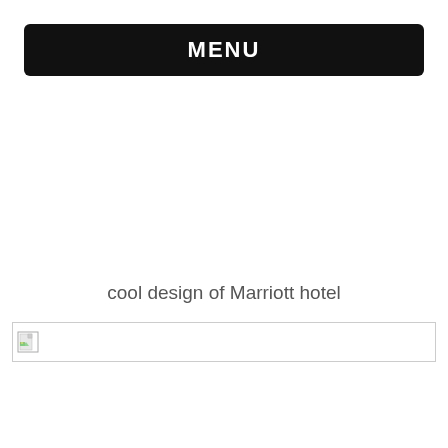MENU
cool design of Marriott hotel
[Figure (photo): Broken image placeholder — a failed image load showing a small broken image icon inside a bordered rectangle, representing a photo of Marriott hotel design]